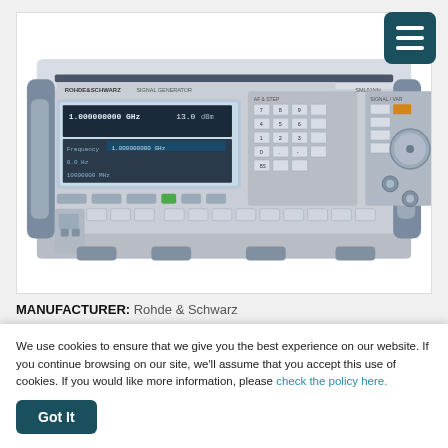[Figure (photo): Rohde & Schwarz SML01 Signal Generator hardware unit, front panel view showing display screen with frequency reading 1.000000000 GHz and 13.0 dBm, numeric keypad, knobs, and connectors on a gray/blue chassis.]
MANUFACTURER: ROHDE & SCHWARZ
ROHDE & SCHWARZ SML01 SIGNAL GENERATOR, 9 KHZ TO 1.1 GHZ
Condition: Pre-Owned
We use cookies to ensure that we give you the best experience on our website. If you continue browsing on our site, we'll assume that you accept this use of cookies. If you would like more information, please check the policy here.
Got It